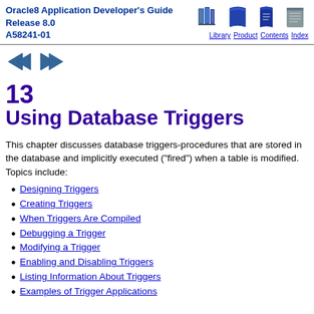Oracle8 Application Developer's Guide Release 8.0 A58241-01
[Figure (illustration): Navigation icons: Library (bookshelf), Product (book), Contents (book), Index (document)]
[Figure (illustration): Navigation arrows: left (back) and right (forward) triangular arrow buttons]
13 Using Database Triggers
This chapter discusses database triggers-procedures that are stored in the database and implicitly executed ("fired") when a table is modified. Topics include:
Designing Triggers
Creating Triggers
When Triggers Are Compiled
Debugging a Trigger
Modifying a Trigger
Enabling and Disabling Triggers
Listing Information About Triggers
Examples of Trigger Applications